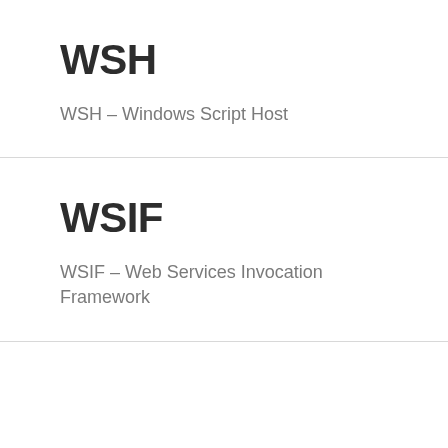WSH
WSH – Windows Script Host
WSIF
WSIF – Web Services Invocation Framework